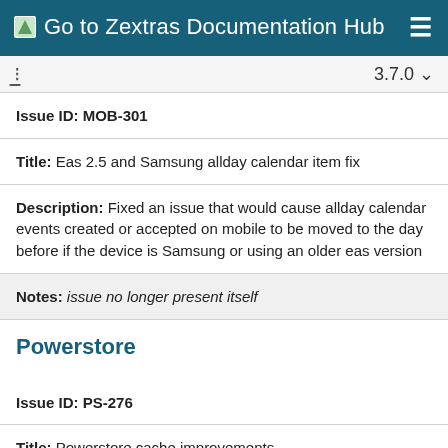Go to Zextras Documentation Hub
3.7.0
Issue ID: MOB-301
Title: Eas 2.5 and Samsung allday calendar item fix
Description: Fixed an issue that would cause allday calendar events created or accepted on mobile to be moved to the day before if the device is Samsung or using an older eas version
Notes: issue no longer present itself
Powerstore
Issue ID: PS-276
Title: Powerstore cache improvements